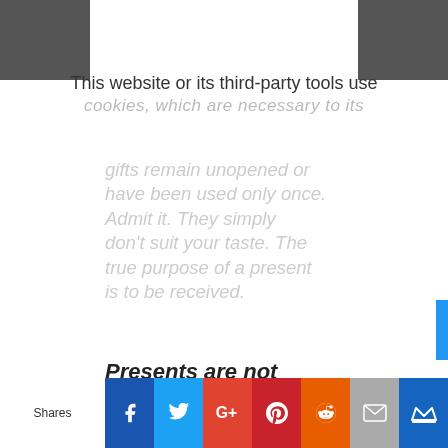This website or its third-party tools use cookies, which are necessary to its
gifts remain unopened or have been used only once. Admit it. They simply don't suit your taste. The true purpose of a present is to be received.
Presents are not “things” but a means for conveying someone’s feelings.
[Figure (infographic): Social media sharing bar with Facebook, Twitter, Google+, Pinterest, Reddit, Email, and crown/bookmark icons on colored backgrounds]